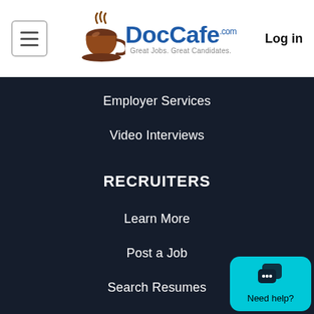DocCafe.com — Great Jobs. Great Candidates. | Log in
Employer Services
Video Interviews
RECRUITERS
Learn More
Post a Job
Search Resumes
Recruiter Services
Video Interviews
COMMUNITY
Need help?